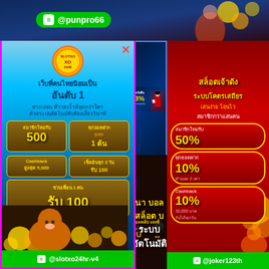[Figure (screenshot): Thai gambling/casino website screenshot composite showing multiple promotional banners. Top: LINE @punpro66 banner. Left popup: slotxo24hr-v4 site promotion with Thai text 'เว็บที่คนไทยนิยมเป็นอันดับ 1', member bonus 500, cashback, refer-a-friend 100, LINE @slotxo24hr-v4. Middle: 3% cashback banner with lady in red dress. Center lower: บอลสเต็ป แทงชั้น / ระบบอัตโนมัติ. Right: Joker123th slot promotions with 50% new member, 10% deposit, 10% cashback, LINE @joker123th.]